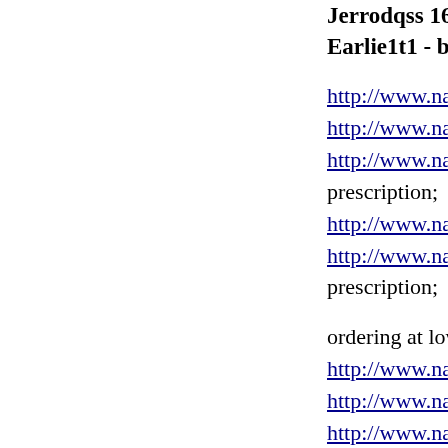Jerrodqss 16.02.20 Earlie1t1 - buy che
http://www.nature.c
http://www.nature.c
http://www.nature.c
prescription;
http://www.nature.c
http://www.nature.c
prescription;
ordering at lowest p
http://www.nature.c
http://www.nature.c
http://www.nature.c
http://www.nature.c
http://www.nature.c
http://www.nature.c
http://www.nature.c
http://www.nature.c
http://www.nature.c
http://www.nature.c